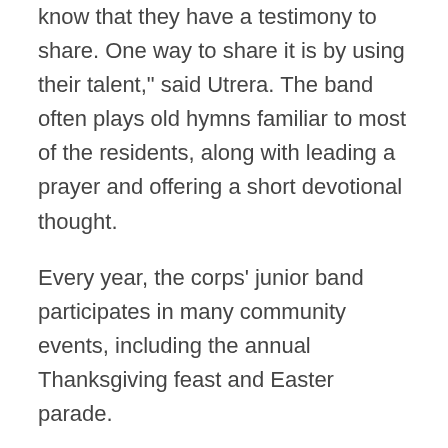know that they have a testimony to share. One way to share it is by using their talent," said Utrera. The band often plays old hymns familiar to most of the residents, along with leading a prayer and offering a short devotional thought.
Every year, the corps' junior band participates in many community events, including the annual Thanksgiving feast and Easter parade.
Microsoft hosts a party
Microsoft is a huge company—and when it comes to gift giving, they give big as well.
The Microsoft store at the Fashion Square Scottsdale Mall hosted a party,